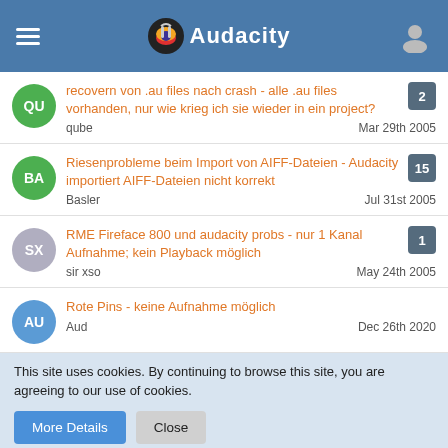Audacity
recovern von .au files nach crash - alle .au files vorhanden, nur wie krieg ich sie wieder in ein project? | qube | Mar 29th 2005 | replies: 2
Riesenprobleme beim Import von AIFF-Dateien - Audacity importiert AIFF-Dateien nicht korrekt | Basler | Jul 31st 2005 | replies: 15
RME Fireface 800 und audacity probs - nur 1 Kanal Aufnahme; kein Playback möglich | sir xso | May 24th 2005 | replies: 1
Rote Pins - keine Aufnahme möglich | Aud | Dec 26th 2020
This site uses cookies. By continuing to browse this site, you are agreeing to our use of cookies.